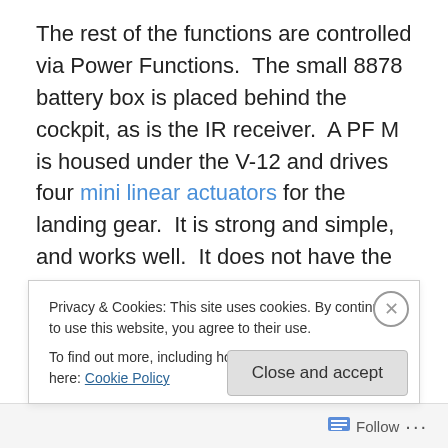The rest of the functions are controlled via Power Functions.  The small 8878 battery box is placed behind the cockpit, as is the IR receiver.  A PF M is housed under the V-12 and drives four mini linear actuators for the landing gear.  It is strong and simple, and works well.  It does not have the correct Spitfire landing gear geometry, but if someone can figure out a way to do it at this scale…well, I can't figure it out.  A second PF M is used to power the propeller   It is placed directly behind the V-12.  Finally, a third PF M is placed behind the V-12, and works through a system of gears to power two mini linear actuators to
Privacy & Cookies: This site uses cookies. By continuing to use this website, you agree to their use.
To find out more, including how to control cookies, see here: Cookie Policy
Close and accept
Follow ···